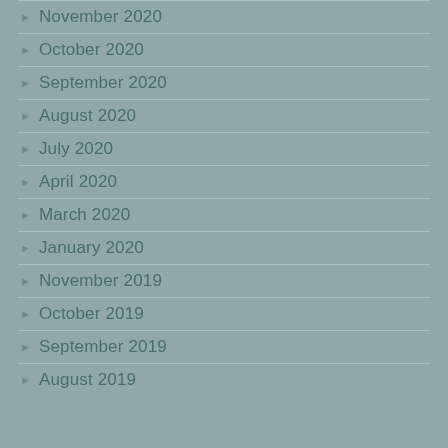November 2020
October 2020
September 2020
August 2020
July 2020
April 2020
March 2020
January 2020
November 2019
October 2019
September 2019
August 2019